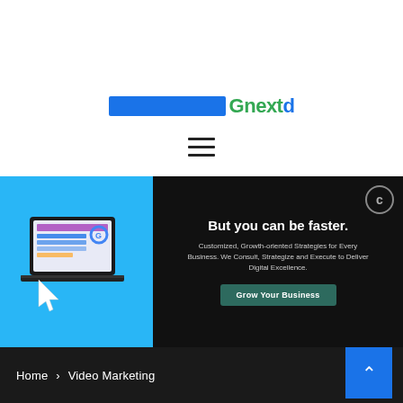[Figure (logo): Gnextd logo with blue bar and green/blue text]
[Figure (illustration): Hamburger menu icon (three horizontal lines)]
[Figure (infographic): Banner advertisement with laptop illustration on blue background on left, and dark right section with text 'But you can be faster.' and subtitle 'Customized, Growth-oriented Strategies for Every Business. We Consult, Strategize and Execute to Deliver Digital Excellence.' with a 'Grow Your Business' button]
Home > Video Marketing
[Figure (illustration): Blue scroll-to-top button with upward chevron arrow]